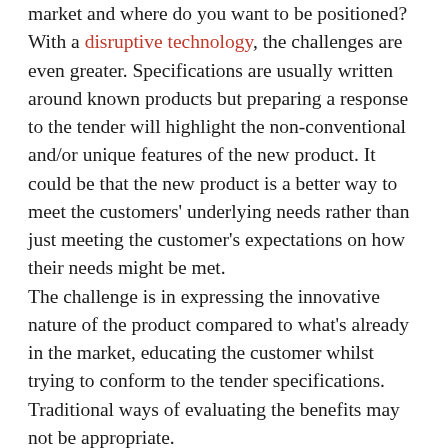market and where do you want to be positioned? With a disruptive technology, the challenges are even greater. Specifications are usually written around known products but preparing a response to the tender will highlight the non-conventional and/or unique features of the new product. It could be that the new product is a better way to meet the customers' underlying needs rather than just meeting the customer's expectations on how their needs might be met.
The challenge is in expressing the innovative nature of the product compared to what's already in the market, educating the customer whilst trying to conform to the tender specifications. Traditional ways of evaluating the benefits may not be appropriate.
I recently assisted a research team respond to a tender for a IT system in an area where their